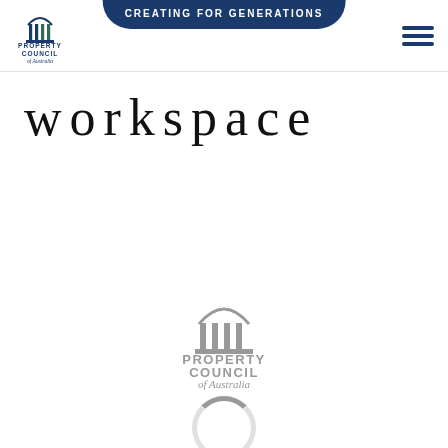CREATING FOR GENERATIONS | Property Council of Australia logo | hamburger menu
workspace
[Figure (logo): Property Council of Australia logo in greyscale, centered on page]
[Figure (other): Loading spinner arc visible at bottom of page]